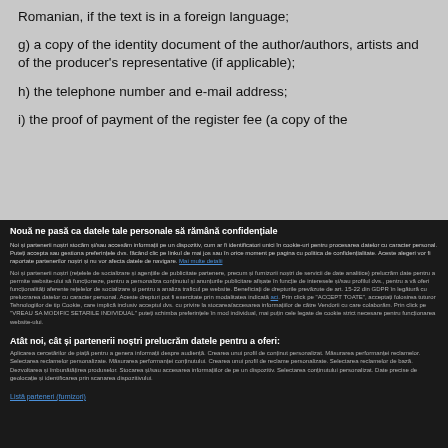Romanian, if the text is in a foreign language;
g) a copy of the identity document of the author/authors, artists and of the producer's representative (if applicable);
h) the telephone number and e-mail address;
i) the proof of payment of the register fee (a copy of the
Nouă ne pasă ca datele tale personale să rămână confidențiale
Noi și partenerii noștri stocăm și/sau accesăm informații pe un dispozitiv, cum ar fi identificatori unici în cookie-uri pentru procesarea datelor cu caracter personal. Puteți accepta sau gestiona preferințele dvs. făcând clic pe linkul de mai jos sau în orice moment pe pagina cu politica de confidențialitate. Aceste alegeri vor fi raportate partenerilor noștri și nu vor afecta datele de navigare. Mai multe detalii
Noi și partenerii noștri (rețelele de socializare și agențiile de publicitate partenere, precum și furnizorii noștri de servicii de date analitice) prelucrăm date pentru a permite website-ului să funcționeze, pentru a personaliza conținutul și anunțurile publicitare afișate în funcție de interesele și/sau profilul dvs., pentru a vă oferi funcționalități aferente rețelelor de socializare și pentru a analiza traficul pe website. Beneficiați de drepturile prevăzute de art. 15-22 din GDPR în legătură cu prelucrarea datelor cu caracter personal. Aceste drepturi pot fi exercitate prin modalitatea indicată aci. Prin click pe "ACCEPT TOATE", acceptați folosirea tuturor Tehnologiilor de tip Cookie, care implică inclusiv acceptul dvs. cu privire la stocarea/accesarea informațiilor de către Vendorii cu care colaborăm. Prin click pe "VREAU SA MODIFIC SETARILE INDIVIDUAL" puteți schimba preferințele în mod individual, mai puțin cele legate de cookie strict necesare pentru funcționarea website-ului.
Atât noi, cât și partenerii noștri prelucrăm datele pentru a oferi:
Aplicarea cercetărilor de piață pentru a genera informații despre audiență. Crearea unui profil de conținut personalizat. Măsurarea performanței reclamelor. Selectarea reclamelor personalizate. Măsurarea performanței conținutului. Crearea unui profil de reclame personalizate. Selectarea reclamelor de bază. Dezvoltarea și îmbunătățirea produselor. Stocarea și/sau accesarea informațiilor de pe un dispozitiv. Selectarea conținutului personalizat. Date precise de geolocație și identificarea prin scanarea dispozitivului.
Listă parteneri (furnizori)